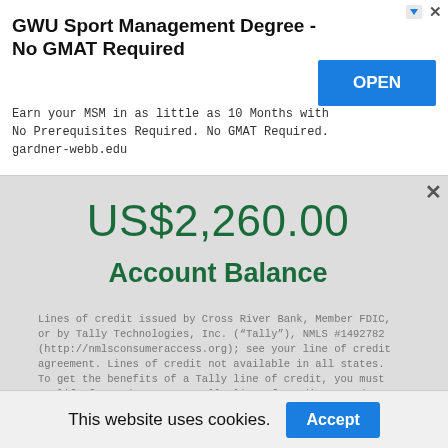[Figure (screenshot): Advertisement banner for GWU Sport Management Degree with OPEN button]
GWU Sport Management Degree - No GMAT Required
Earn your MSM in as little as 10 Months with No Prerequisites Required. No GMAT Required. gardner-webb.edu
[Figure (screenshot): Account balance display showing US$2,260.00 with Account Balance label]
US$2,260.00
Account Balance
Lines of credit issued by Cross River Bank, Member FDIC, or by Tally Technologies, Inc. ("Tally"), NMLS #1492782 (http://nmlsconsumeraccess.org); see your line of credit agreement. Lines of credit not available in all states. To get the benefits of a Tally line of credit, you must qualify for and accept a Tally line of credit. Based on your credit history, the APR (which is the same as your interest rate) will be between 7.90% - 29.99% per
Sponsored Links
This website uses cookies.